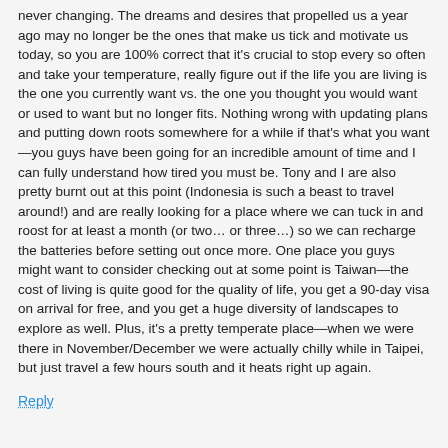never changing. The dreams and desires that propelled us a year ago may no longer be the ones that make us tick and motivate us today, so you are 100% correct that it's crucial to stop every so often and take your temperature, really figure out if the life you are living is the one you currently want vs. the one you thought you would want or used to want but no longer fits. Nothing wrong with updating plans and putting down roots somewhere for a while if that's what you want—you guys have been going for an incredible amount of time and I can fully understand how tired you must be. Tony and I are also pretty burnt out at this point (Indonesia is such a beast to travel around!) and are really looking for a place where we can tuck in and roost for at least a month (or two… or three…) so we can recharge the batteries before setting out once more. One place you guys might want to consider checking out at some point is Taiwan—the cost of living is quite good for the quality of life, you get a 90-day visa on arrival for free, and you get a huge diversity of landscapes to explore as well. Plus, it's a pretty temperate place—when we were there in November/December we were actually chilly while in Taipei, but just travel a few hours south and it heats right up again.
Reply